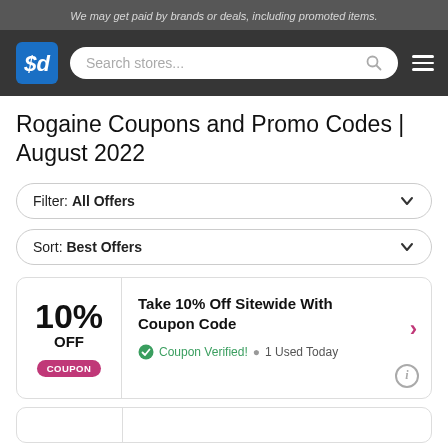We may get paid by brands or deals, including promoted items.
[Figure (logo): SlickDeals logo — white '$d' letters on a blue diamond/square background]
Rogaine Coupons and Promo Codes | August 2022
Filter: All Offers
Sort: Best Offers
10% OFF COUPON — Take 10% Off Sitewide With Coupon Code — Coupon Verified! • 1 Used Today